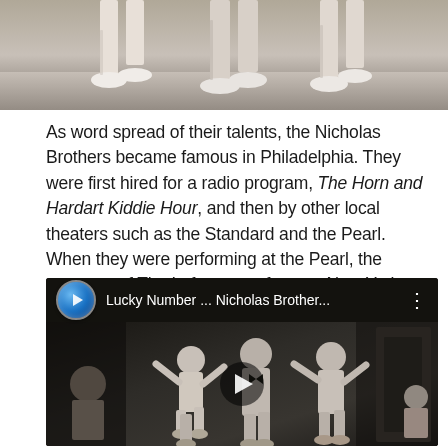[Figure (photo): Black and white photo cropped at the bottom, showing legs and feet of performers in white shoes, partially cut off at top of page.]
As word spread of their talents, the Nicholas Brothers became famous in Philadelphia. They were first hired for a radio program, The Horn and Hardart Kiddie Hour, and then by other local theaters such as the Standard and the Pearl. When they were performing at the Pearl, the manager of The Lafayette, a famous New York vaudeville showcase, saw them and immediately wanted them to perform for his theater.
[Figure (screenshot): YouTube video thumbnail showing black and white footage of the Nicholas Brothers dancing, with video title 'Lucky Number ... Nicholas Brothers...' and a play button overlay.]